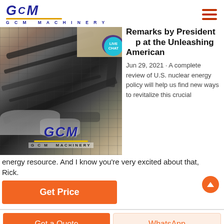[Figure (logo): GCM Machinery logo with blue italic stylized text and orange underline]
[Figure (photo): Industrial mining machinery / conveyor belt equipment at a quarry site, with GCM Machinery logo overlay]
Remarks by President Trump at the Unleashing American
Jun 29, 2021 · A complete review of U.S. nuclear energy policy will help us find new ways to revitalize this crucial energy resource. And I know you're very excited about that, Rick.
Get Price
Get a Quote
WhatsApp